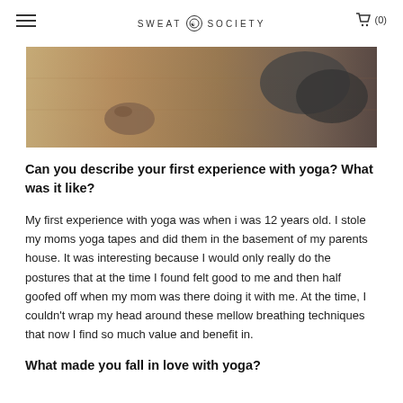SWEAT SOCIETY (0)
[Figure (photo): Close-up photo of a person's tattooed hand on a wooden floor, with dark clothing visible, suggesting a yoga or exercise pose]
Can you describe your first experience with yoga? What was it like?
My first experience with yoga was when i was 12 years old. I stole my moms yoga tapes and did them in the basement of my parents house. It was interesting because I would only really do the postures that at the time I found felt good to me and then half goofed off when my mom was there doing it with me. At the time, I couldn't wrap my head around these mellow breathing techniques that now I find so much value and benefit in.
What made you fall in love with yoga?